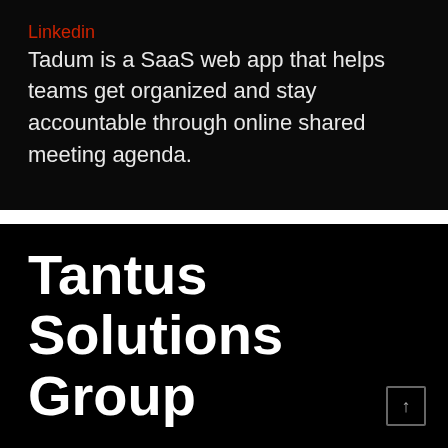Linkedin
Tadum is a SaaS web app that helps teams get organized and stay accountable through online shared meeting agenda.
Tantus Solutions Group